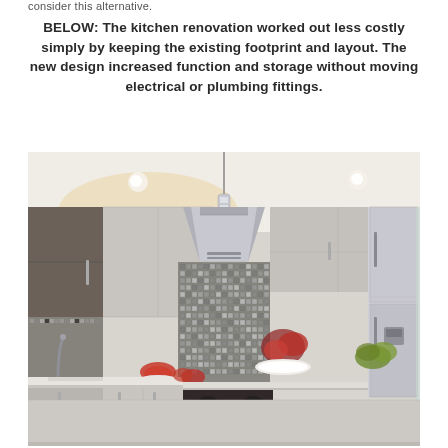consider this alternative.
BELOW: The kitchen renovation worked out less costly simply by keeping the existing footprint and layout. The new design increased function and storage without moving electrical or plumbing fittings.
[Figure (photo): Modern renovated kitchen with grey cabinets, mosaic tile backsplash, stainless steel range hood, stainless refrigerator, pendant light, and kitchen island with fruit and drinks.]